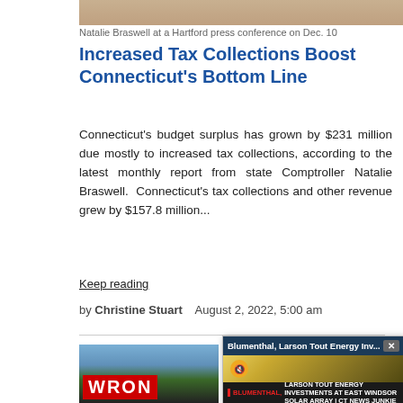[Figure (photo): Top portion of a photo showing Natalie Braswell at a Hartford press conference]
Natalie Braswell at a Hartford press conference on Dec. 10
Increased Tax Collections Boost Connecticut's Bottom Line
Connecticut's budget surplus has grown by $231 million due mostly to increased tax collections, according to the latest monthly report from state Comptroller Natalie Braswell.  Connecticut's tax collections and other revenue grew by $157.8 million...
Keep reading
by Christine Stuart    August 2, 2022, 5:00 am
[Figure (screenshot): News article page showing a wrong way sign photo on the left and a popup video overlay on the right showing solar panels with text: Blumenthal, Larson Tout Energy Investments at East Windsor Solar Array | CT News Junkie]